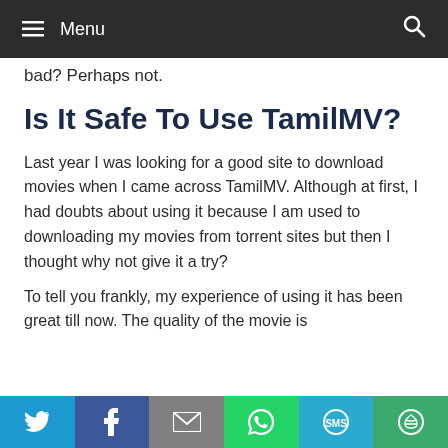≡ Menu
bad? Perhaps not.
Is It Safe To Use TamilMV?
Last year I was looking for a good site to download movies when I came across TamilMV. Although at first, I had doubts about using it because I am used to downloading my movies from torrent sites but then I thought why not give it a try?
To tell you frankly, my experience of using it has been great till now. The quality of the movie is